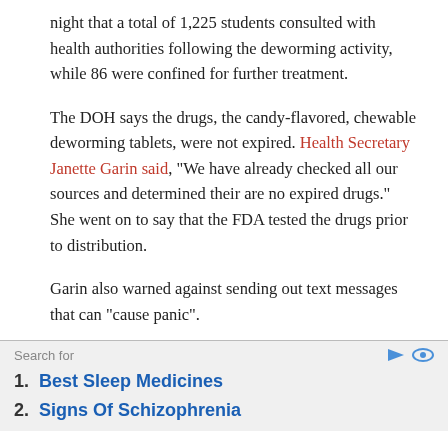night that a total of 1,225 students consulted with health authorities following the deworming activity, while 86 were confined for further treatment.
The DOH says the drugs, the candy-flavored, chewable deworming tablets, were not expired. Health Secretary Janette Garin said, “We have already checked all our sources and determined their are no expired drugs.” She went on to say that the FDA tested the drugs prior to distribution.
Garin also warned against sending out text messages that can “cause panic”.
Search for
1. Best Sleep Medicines
2. Signs Of Schizophrenia